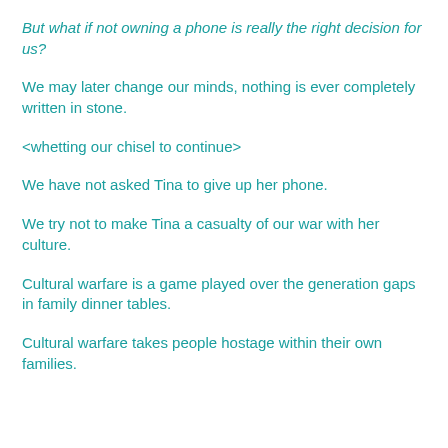But what if not owning a phone is really the right decision for us?
We may later change our minds, nothing is ever completely written in stone.
<whetting our chisel to continue>
We have not asked Tina to give up her phone.
We try not to make Tina a casualty of our war with her culture.
Cultural warfare is a game played over the generation gaps in family dinner tables.
Cultural warfare takes people hostage within their own families.